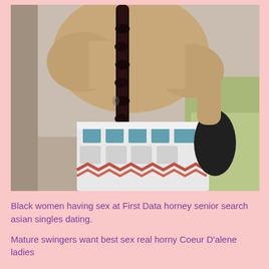[Figure (photo): A person with a long dark braid wearing a patterned strapless top with teal, white, and red zigzag design, photographed indoors with a green cushion/pillow visible in the background.]
Black women having sex at First Data horney senior search asian singles dating.
Mature swingers want best sex real horny Coeur D'alene ladies